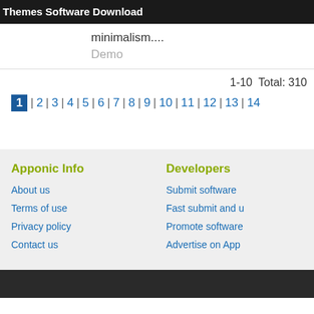Themes Software Download
minimalism....
Demo
1-10  Total: 310
1 | 2 | 3 | 4 | 5 | 6 | 7 | 8 | 9 | 10 | 11 | 12 | 13 | 14
Apponic Info
About us
Terms of use
Privacy policy
Contact us
Developers
Submit software
Fast submit and u
Promote software
Advertise on App